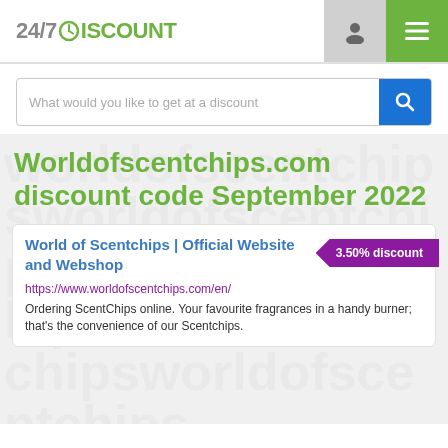24/7DISCOUNT
What would you like to get at a discount
Worldofscentchips.com discount code September 2022
3.50% discount
World of Scentchips | Official Website and Webshop
https://www.worldofscentchips.com/en/
Ordering ScentChips online. Your favourite fragrances in a handy burner; that's the convenience of our Scentchips.